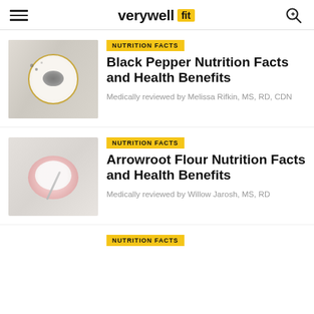verywell fit
[Figure (photo): Overhead view of black pepper on a white plate with gold rim on a marble surface]
NUTRITION FACTS
Black Pepper Nutrition Facts and Health Benefits
Medically reviewed by Melissa Rifkin, MS, RD, CDN
[Figure (photo): Overhead view of arrowroot flour in a pink bowl with a spoon on a marble surface]
NUTRITION FACTS
Arrowroot Flour Nutrition Facts and Health Benefits
Medically reviewed by Willow Jarosh, MS, RD
NUTRITION FACTS